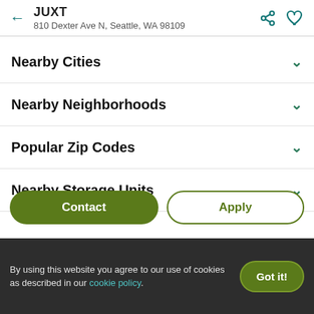JUXT
810 Dexter Ave N, Seattle, WA 98109
Nearby Cities
Nearby Neighborhoods
Popular Zip Codes
Nearby Storage Units
Frequently Asked Questions
By using this website you agree to our use of cookies as described in our cookie policy.